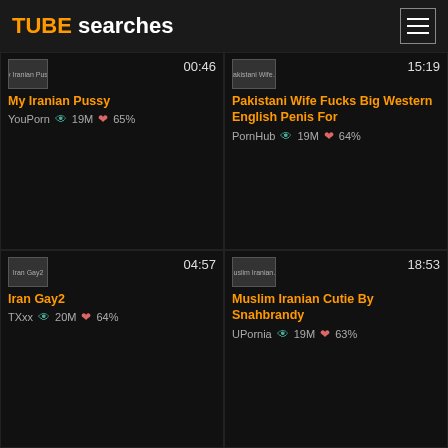TUBE searches
My Iranian Pussy | 00:46 | YouPorn 19M 65%
Pakistani Wife Fucks Big Western English Penis For Short Dick Paki Cuckold | 15:19 | PornHub 19M 64%
Iran Gay2 | 04:57 | TXxx 20M 64%
Muslim Iranian Cutie By Snahbrandy | 18:53 | UPornia 19M 63%